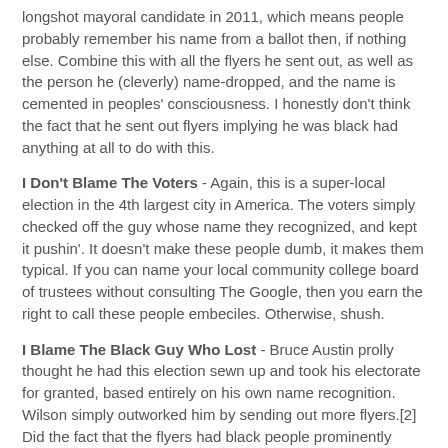longshot mayoral candidate in 2011, which means people probably remember his name from a ballot then, if nothing else. Combine this with all the flyers he sent out, as well as the person he (cleverly) name-dropped, and the name is cemented in peoples' consciousness. I honestly don't think the fact that he sent out flyers implying he was black had anything at all to do with this.
I Don't Blame The Voters - Again, this is a super-local election in the 4th largest city in America. The voters simply checked off the guy whose name they recognized, and kept it pushin'. It doesn't make these people dumb, it makes them typical. If you can name your local community college board of trustees without consulting The Google, then you earn the right to call these people embeciles. Otherwise, shush.
I Blame The Black Guy Who Lost - Bruce Austin prolly thought he had this election sewn up and took his electorate for granted, based entirely on his own name recognition. Wilson simply outworked him by sending out more flyers.[2] Did the fact that the flyers had black people prominently displayed help a little? Prolly. But maybe not. Who knows.